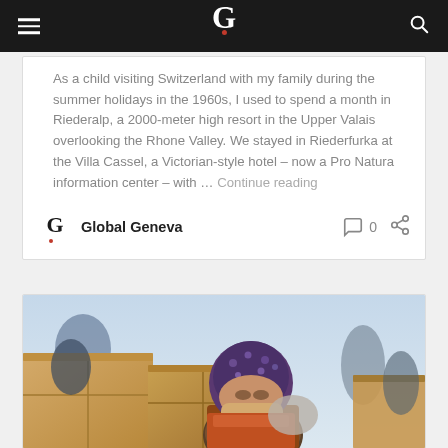Global Geneva (navigation bar with logo and search)
As a child visiting Switzerland with my family during the summer holidays in the 1960s, I used to spend a month in Riederalp, a 2000-meter high resort in the Upper Valais overlooking the Rhone Valley. We stayed in Riederfurka at the Villa Cassel, a Victorian-style hotel – now a Pro Natura information center – with … Continue reading
Global Geneva
0
[Figure (photo): Humanitarian aid scene showing a woman in a headscarf surrounded by cardboard boxes, with others visible in the background against a light sky]